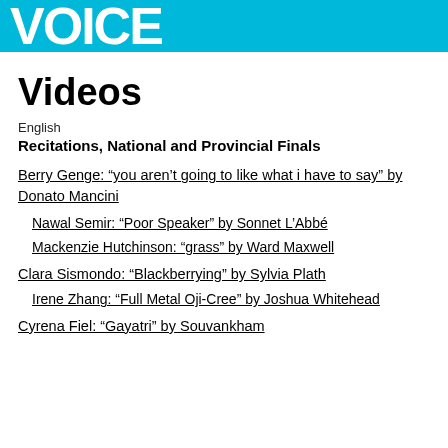VOICE
Videos
English
Recitations, National and Provincial Finals
Berry Genge: “you aren’t going to like what i have to say” by Donato Mancini
Nawal Semir: “Poor Speaker” by Sonnet L’Abbé
Mackenzie Hutchinson: “grass” by Ward Maxwell
Clara Sismondo: “Blackberrying” by Sylvia Plath
Irene Zhang: “Full Metal Oji-Cree” by Joshua Whitehead
Cyrena Fiel: “Gayatri” by Souvankham